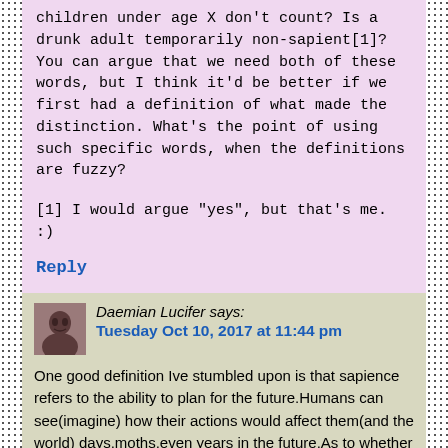children under age X don't count? Is a drunk adult temporarily non-sapient[1]? You can argue that we need both of these words, but I think it'd be better if we first had a definition of what made the distinction. What's the point of using such specific words, when the definitions are fuzzy?
[1] I would argue "yes", but that's me. :)
Reply
Daemian Lucifer says:
Tuesday Oct 10, 2017 at 11:44 pm
One good definition Ive stumbled upon is that sapience refers to the ability to plan for the future.Humans can see(imagine) how their actions would affect them(and the world) days,moths,even years in the future.As to whether chimps can do that to a much lesser degree is debatable but its clear that